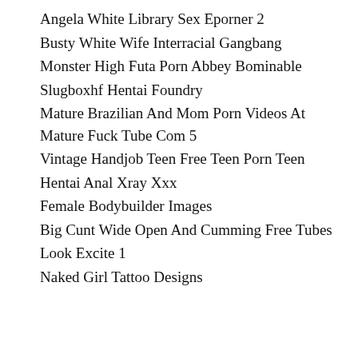Angela White Library Sex Eporner 2
Busty White Wife Interracial Gangbang
Monster High Futa Porn Abbey Bominable
Slugboxhf Hentai Foundry
Mature Brazilian And Mom Porn Videos At Mature Fuck Tube Com 5
Vintage Handjob Teen Free Teen Porn Teen
Hentai Anal Xray Xxx
Female Bodybuilder Images
Big Cunt Wide Open And Cumming Free Tubes
Look Excite 1
Naked Girl Tattoo Designs